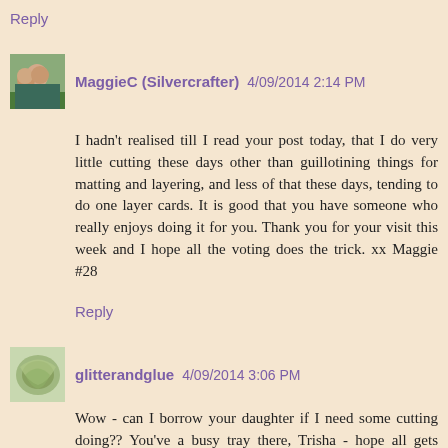Reply
[Figure (photo): Profile photo of MaggieC (Silvercrafter) - two people outdoors]
MaggieC (Silvercrafter) 4/09/2014 2:14 PM
I hadn't realised till I read your post today, that I do very little cutting these days other than guillotining things for matting and layering, and less of that these days, tending to do one layer cards. It is good that you have someone who really enjoys doing it for you. Thank you for your visit this week and I hope all the voting does the trick. xx Maggie #28
Reply
[Figure (photo): Profile photo of glitterandglue - leaf or nature image]
glitterandglue 4/09/2014 3:06 PM
Wow - can I borrow your daughter if I need some cutting doing?? You've a busy tray there, Trisha - hope all gets done.
Have been taking a sneaky look around your whole site - reading the list of countries - Wales? Scotland? They seem to be missing - have you already sent to them?